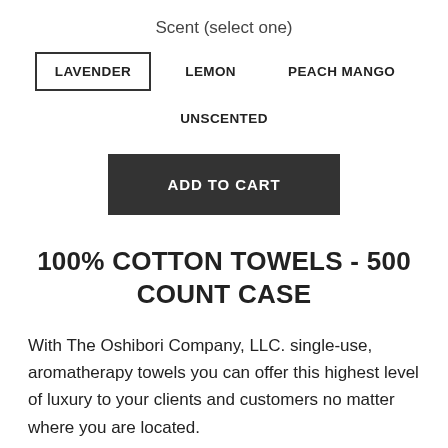Scent (select one)
LAVENDER
LEMON
PEACH MANGO
UNSCENTED
ADD TO CART
100% COTTON TOWELS - 500 COUNT CASE
With The Oshibori Company, LLC. single-use, aromatherapy towels you can offer this highest level of luxury to your clients and customers no matter where you are located.